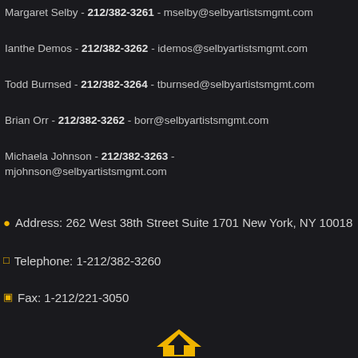Margaret Selby - 212/382-3261 - mselby@selbyartistsmgmt.com
Ianthe Demos - 212/382-3262 - idemos@selbyartistsmgmt.com
Todd Burnsed - 212/382-3264 - tburnsed@selbyartistsmgmt.com
Brian Orr - 212/382-3262 - borr@selbyartistsmgmt.com
Michaela Johnson - 212/382-3263 - mjohnson@selbyartistsmgmt.com
Address: 262 West 38th Street Suite 1701 New York, NY 10018
Telephone: 1-212/382-3260
Fax: 1-212/221-3050